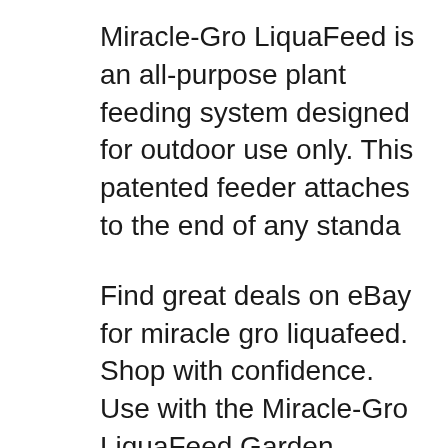Miracle-Gro LiquaFeed is an all-purpose plant feeding system designed for outdoor use only. This patented feeder attaches to the end of any standa
Find great deals on eBay for miracle gro liquafeed. Shop with confidence. Use with the Miracle-Gro LiquaFeed Garden Feeder. NPK ratio of 12-4-8 feeds all flowers, vegetables, shrubs and trees any time during the growing season.
Miracle Gro LiquFeed Refill Pack - All-purpose formula for plants, trees and shrubs. Ready-to-use refill bottles for use with the Miracle-Gro LiquaFeed garden feeder Home & Garden The Miracle-Gro LiquaFeed is an all-purpose